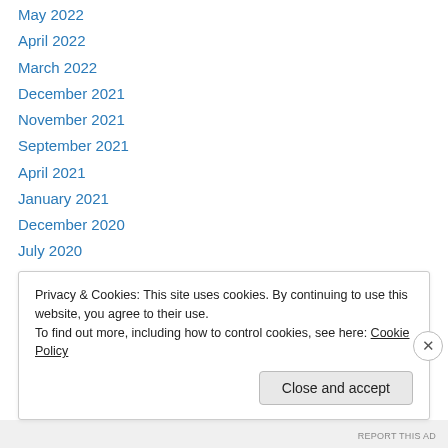May 2022
April 2022
March 2022
December 2021
November 2021
September 2021
April 2021
January 2021
December 2020
July 2020
October 2019
September 2019
June 2019
Privacy & Cookies: This site uses cookies. By continuing to use this website, you agree to their use. To find out more, including how to control cookies, see here: Cookie Policy
REPORT THIS AD